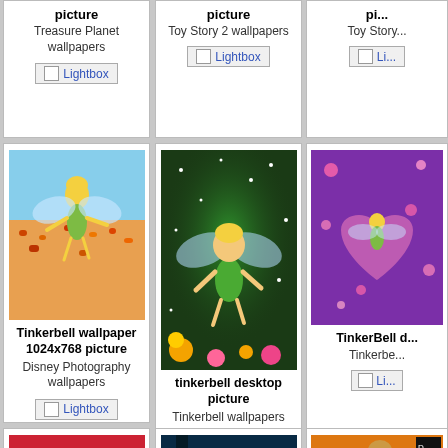[Figure (photo): Treasure Planet wallpaper thumbnail (cut off at top)]
picture
Treasure Planet wallpapers
[Figure (photo): Toy Story 2 wallpaper thumbnail (cut off at top)]
picture
Toy Story 2 wallpapers
[Figure (photo): Toy Story wallpaper thumbnail (cut off at top, partial)]
Toy Story...
[Figure (photo): Tinkerbell flying over a flower field - green dress, yellow hair, wings]
Tinkerbell wallpaper 1024x768 picture
Disney Photography wallpapers
[Figure (photo): Tinkerbell desktop picture - dark green background, glowing stars, flowers]
tinkerbell desktop picture
Tinkerbell wallpapers
[Figure (photo): TinkerBell on purple background with sparkles (partial)]
TinkerBell d...
Tinkerbe...
[Figure (photo): The Princess Diaries wallpaper - red background with girl]
the princess diaries wallpaper picture
The Princess Diaries
[Figure (photo): The Princess and the Frog desktop picture - dark blue/teal background]
the princess and the frog desktop picture
[Figure (photo): The Lion King wallpaper (partial) - orange background]
the lion ki... pi...